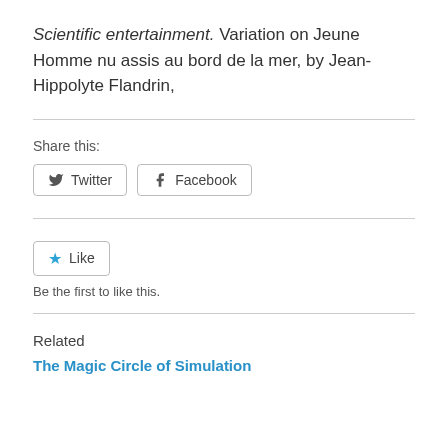Scientific entertainment. Variation on Jeune Homme nu assis au bord de la mer, by Jean-Hippolyte Flandrin,
Share this:
[Figure (other): Twitter and Facebook share buttons]
[Figure (other): Like button with star icon]
Be the first to like this.
Related
The Magic Circle of Simulation